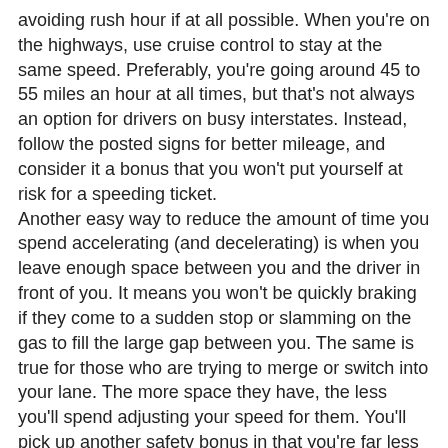avoiding rush hour if at all possible. When you're on the highways, use cruise control to stay at the same speed. Preferably, you're going around 45 to 55 miles an hour at all times, but that's not always an option for drivers on busy interstates. Instead, follow the posted signs for better mileage, and consider it a bonus that you won't put yourself at risk for a speeding ticket. Another easy way to reduce the amount of time you spend accelerating (and decelerating) is when you leave enough space between you and the driver in front of you. It means you won't be quickly braking if they come to a sudden stop or slamming on the gas to fill the large gap between you. The same is true for those who are trying to merge or switch into your lane. The more space they have, the less you'll spend adjusting your speed for them. You'll pick up another safety bonus in that you're far less likely to get into an accident when you have enough space to slow down in the case of an unexpected event. Start getting into the habit of giving yourself enough room at traffic signals too. The longer you wait to brake at stop lights or signs, the more your brakes have to work and the more